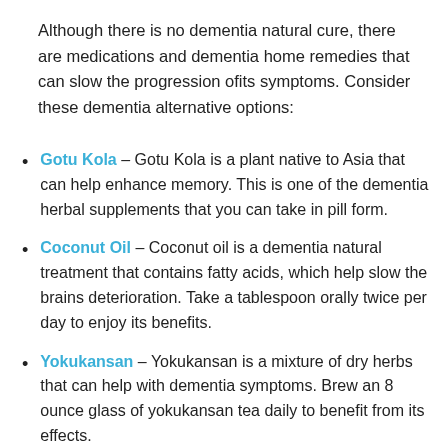Although there is no dementia natural cure, there are medications and dementia home remedies that can slow the progression ofits symptoms. Consider these dementia alternative options:
Gotu Kola – Gotu Kola is a plant native to Asia that can help enhance memory. This is one of the dementia herbal supplements that you can take in pill form.
Coconut Oil – Coconut oil is a dementia natural treatment that contains fatty acids, which help slow the brains deterioration. Take a tablespoon orally twice per day to enjoy its benefits.
Yokukansan – Yokukansan is a mixture of dry herbs that can help with dementia symptoms. Brew an 8 ounce glass of yokukansan tea daily to benefit from its effects.